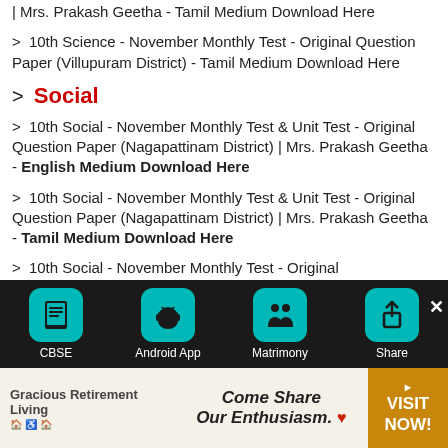| Mrs. Prakash Geetha - Tamil Medium Download Here
> 10th Science - November Monthly Test - Original Question Paper (Villupuram District) - Tamil Medium Download Here
> Social
> 10th Social - November Monthly Test & Unit Test - Original Question Paper (Nagapattinam District) | Mrs. Prakash Geetha - English Medium Download Here
> 10th Social - November Monthly Test & Unit Test - Original Question Paper (Nagapattinam District) | Mrs. Prakash Geetha - Tamil Medium Download Here
> 10th Social - November Monthly Test - Original Question Paper (Villupuram District) - Tamil
[Figure (screenshot): Mobile app toolbar with CBSE, Android App, Matrimony, Share buttons on dark background]
[Figure (infographic): Advertisement banner: Gracious Retirement Living - Come Share Our Enthusiasm. VISIT NOW!]